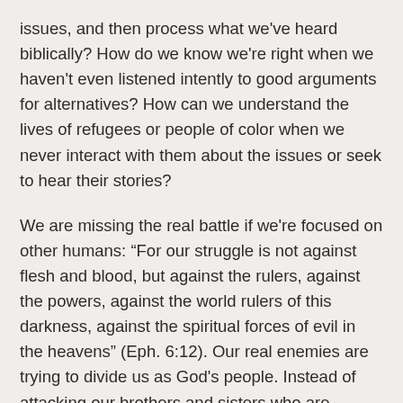issues, and then process what we've heard biblically? How do we know we're right when we haven't even listened intently to good arguments for alternatives? How can we understand the lives of refugees or people of color when we never interact with them about the issues or seek to hear their stories?
We are missing the real battle if we're focused on other humans: “For our struggle is not against flesh and blood, but against the rulers, against the powers, against the world rulers of this darkness, against the spiritual forces of evil in the heavens” (Eph. 6:12). Our real enemies are trying to divide us as God's people. Instead of attacking our brothers and sisters who are different colors or nationalities, let's listen and pray more.
Love means unplugging our ears to understand.